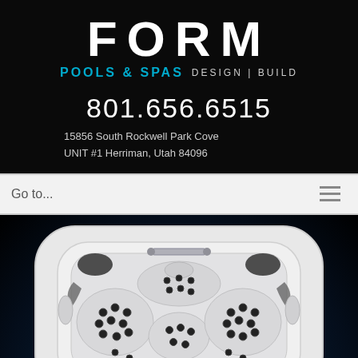[Figure (logo): FORM Pools & Spas Design | Build logo with large white FORM text and teal subtitle]
801.656.6515
15856 South Rockwell Park Cove
UNIT #1 Herriman, Utah 84096
Go to...
[Figure (photo): Top-down aerial view of a white hot tub/spa with multiple jet seats and black jet nozzles, photographed against a dark navy background]